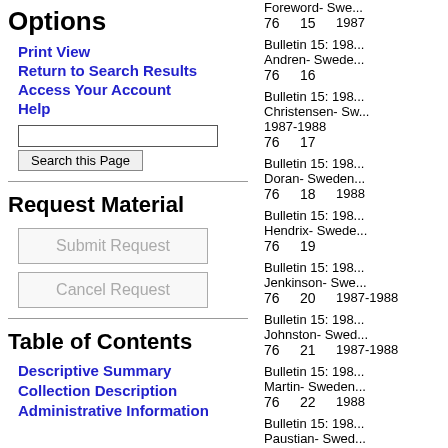Options
Print View
Return to Search Results
Access Your Account
Help
Request Material
Submit Request
Cancel Request
Table of Contents
Descriptive Summary
Collection Description
Administrative Information
76  15  Foreword- Swe... 1987
76  16  Bulletin 15: 198... Andren- Swede...
76  17  Bulletin 15: 198... Christensen- Sw... 1987-1988
76  18  Bulletin 15: 198... Doran- Sweden... 1988
76  19  Bulletin 15: 198... Hendrix- Swede...
76  20  Bulletin 15: 198... Jenkinson- Swe... 1987-1988
76  21  Bulletin 15: 198... Johnston- Swed... 1987-1988
76  22  Bulletin 15: 198... Martin- Sweden... 1988
76     Bulletin 15: 198... Paustian- Swed...